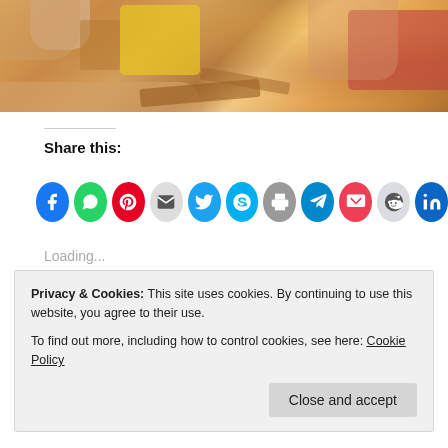[Figure (photo): Photo of children's hands working with wooden blocks or craft materials at a table. One child wears a yellow shirt, another wears a red top. The image is cropped showing the top portion of the scene.]
Share this:
[Figure (infographic): Row of social media share icon buttons: Facebook (blue), WhatsApp (green), Pinterest (red), Email (grey), Twitter (blue), Skype (cyan), Print (grey), Telegram (dark blue), Pocket (red), Reddit (light grey), LinkedIn (blue), and one more partially visible.]
Loading...
Privacy & Cookies: This site uses cookies. By continuing to use this website, you agree to their use.
To find out more, including how to control cookies, see here: Cookie Policy
Close and accept